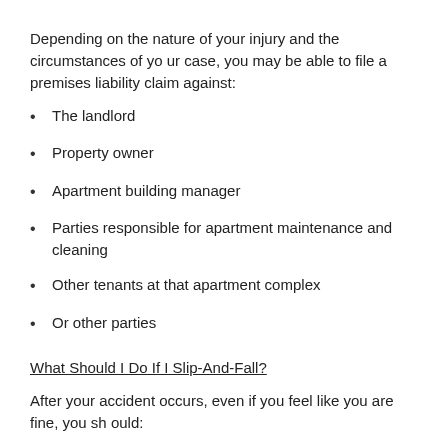Depending on the nature of your injury and the circumstances of your case, you may be able to file a premises liability claim against:
The landlord
Property owner
Apartment building manager
Parties responsible for apartment maintenance and cleaning
Other tenants at that apartment complex
Or other parties
What Should I Do If I Slip-And-Fall?
After your accident occurs, even if you feel like you are fine, you should:
Remain at the scene of the accident
Contact emergency personnel and the manager of the property